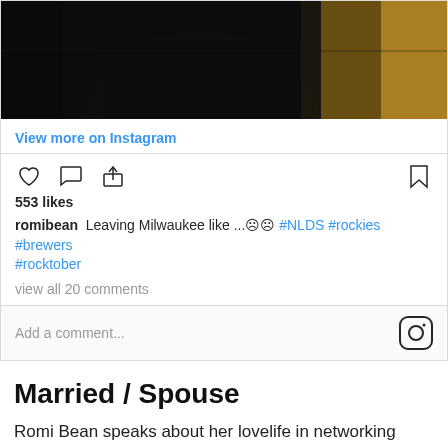[Figure (screenshot): Top portion of an Instagram post showing a dark photo (person in black against blurred background)]
View more on Instagram
[Figure (other): Instagram action icons: heart (like), comment bubble, share arrow, bookmark]
553 likes
romibean Leaving Milwaukee like ...😞😞 #NLDS #rockies #brewers #rocktober
view all 20 comments
Add a comment...
Married / Spouse
Romi Bean speaks about her lovelife in networking marketing in a manner that is funny. On Insta-gram, she published a film